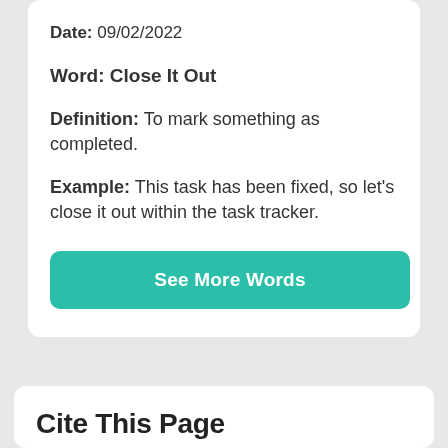Date: 09/02/2022
Word: Close It Out
Definition: To mark something as completed.
Example: This task has been fixed, so let's close it out within the task tracker.
See More Words
Cite This Page